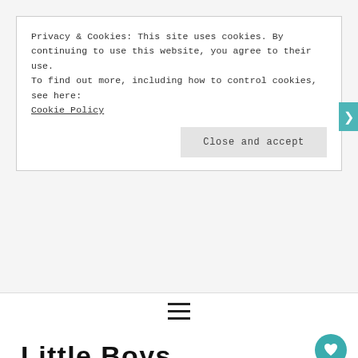Privacy & Cookies: This site uses cookies. By continuing to use this website, you agree to their use.
To find out more, including how to control cookies, see here: Cookie Policy
Close and accept
[Figure (other): Hamburger menu icon (three horizontal lines)]
Little Boys
Is There Something Wrong With My Child?